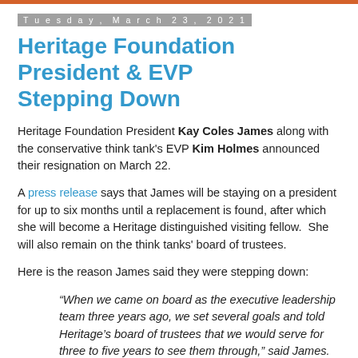Tuesday, March 23, 2021
Heritage Foundation President & EVP Stepping Down
Heritage Foundation President Kay Coles James along with the conservative think tank's EVP Kim Holmes announced their resignation on March 22.
A press release says that James will be staying on a president for up to six months until a replacement is found, after which she will become a Heritage distinguished visiting fellow.  She will also remain on the think tanks' board of trustees.
Here is the reason James said they were stepping down:
“When we came on board as the executive leadership team three years ago, we set several goals and told Heritage’s board of trustees that we would serve for three to five years to see them through,” said James. “We accomplished